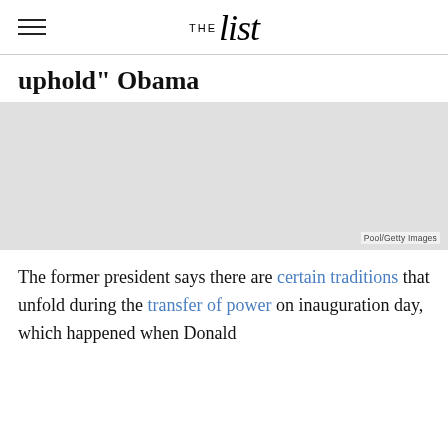THE list
uphold" Obama
[Figure (photo): Photo of Obama, image credit: Pool/Getty Images]
The former president says there are certain traditions that unfold during the transfer of power on inauguration day, which happened when Donald